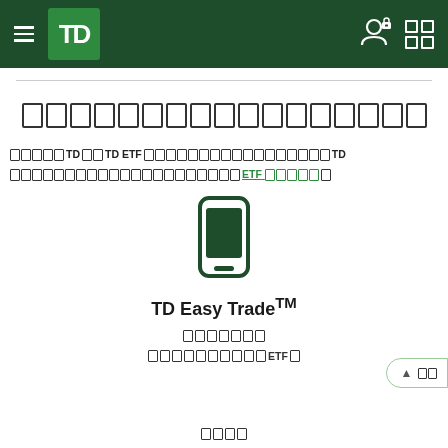TD Bank App Navigation Header
[Redacted Japanese text - page title]
[Redacted Japanese text about TD and TD ETF products with ETF link]
[Figure (illustration): Green smartphone icon representing TD Easy Trade mobile app]
TD Easy Trade™
[Redacted Japanese text - subtitle row 1]
[Redacted Japanese text about ETF - subtitle row 2]
[Redacted Japanese text - bottom stub]